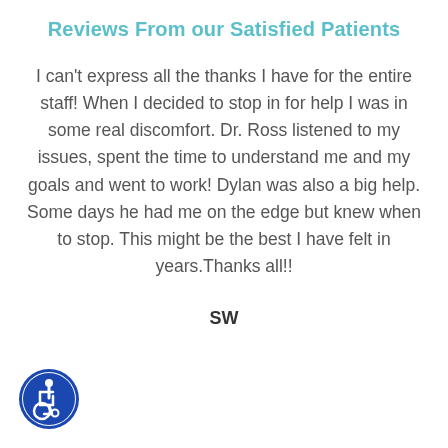Reviews From our Satisfied Patients
I can't express all the thanks I have for the entire staff! When I decided to stop in for help I was in some real discomfort. Dr. Ross listened to my issues, spent the time to understand me and my goals and went to work! Dylan was also a big help. Some days he had me on the edge but knew when to stop. This might be the best I have felt in years.Thanks all!!
SW
[Figure (illustration): Blue circular accessibility/wheelchair icon]